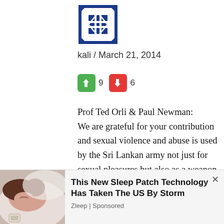[Figure (logo): Blue and white geometric square logo/avatar with cross and diamond pattern]
kali / March 21, 2014
thumbs up 9  thumbs down 6
Prof Ted Orli & Paul Newman:
We are grateful for your contribution and sexual violence and abuse is used by the Sri Lankan army not just for sexual pleasures but also as a weapon of Terror to subjugate the entire Tamil Population. This is nothing new as the brutal killing of Krishanthi epitomises the Tamil Struggle. Every day that passes under the control of the Barbaric Sinhala
[Figure (photo): Woman sleeping on pillow with a patch on her arm, ad for sleep patch product]
This New Sleep Patch Technology Has Taken The US By Storm
Zleep | Sponsored